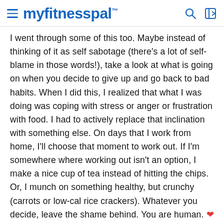myfitnesspal
I went through some of this too. Maybe instead of thinking of it as self sabotage (there's a lot of self-blame in those words!), take a look at what is going on when you decide to give up and go back to bad habits. When I did this, I realized that what I was doing was coping with stress or anger or frustration with food. I had to actively replace that inclination with something else. On days that I work from home, I'll choose that moment to work out. If I'm somewhere where working out isn't an option, I make a nice cup of tea instead of hitting the chips. Or, I munch on something healthy, but crunchy (carrots or low-cal rice crackers). Whatever you decide, leave the shame behind. You are human. ❤
Also, if there are foods that you are depriving yourself of for the sake of a diet, that to fie...